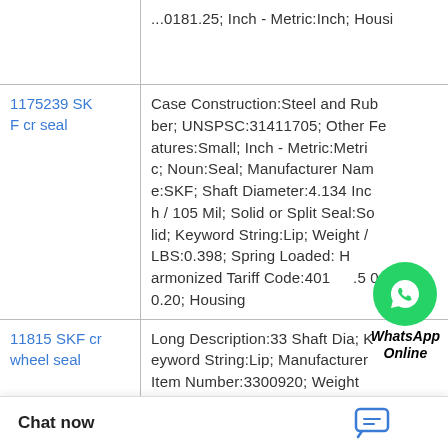| Product | Description |
| --- | --- |
|  | ...0181.25; Inch - Metric:Inch; Housi |
| 1175239 SKF cr seal | Case Construction:Steel and Rubber; UNSPSC:31411705; Other Features:Small; Inch - Metric:Metric; Noun:Seal; Manufacturer Name:SKF; Shaft Diameter:4.134 Inch / 105 Mil; Solid or Split Seal:Solid; Keyword String:Lip; Weight / LBS:0.398; Spring Loaded:H armonized Tariff Code:401...50 0.20; Housing |
| 11815 SKF cr wheel seal | Long Description:33 Shaft Dia; Keyword String:Lip; Manufacturer Item Number:3300920; Weight / Kilogram:9.56; UNSPSC:31411705; Seal Design Code:HDSD1; Lip Retainer:Stainless Steel Gart; Lip Material:Nitrile; Generic Design D1; Other Feature Inner C; Spring Lo |